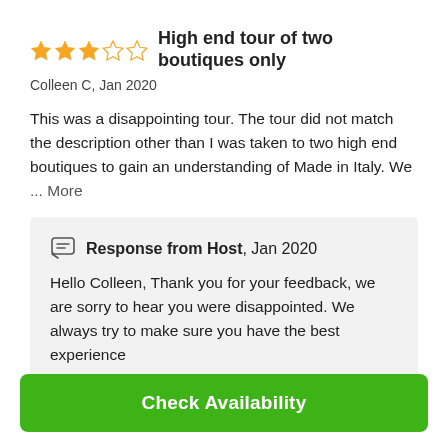High end tour of two boutiques only
Colleen C, Jan 2020
This was a disappointing tour. The tour did not match the description other than I was taken to two high end boutiques to gain an understanding of Made in Italy. We ... More
Response from Host, Jan 2020
Hello Colleen, Thank you for your feedback, we are sorry to hear you were disappointed. We always try to make sure you have the best experience ... More
Check Availability